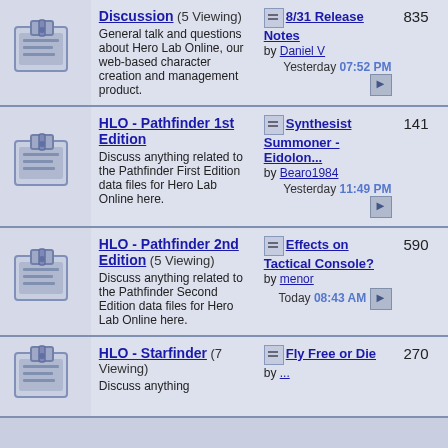| Icon | Forum | Last Post | Count |
| --- | --- | --- | --- |
| [icon] | Discussion (5 Viewing)
General talk and questions about Hero Lab Online, our web-based character creation and management product. | 8/31 Release Notes by Daniel V Yesterday 07:52 PM | 835 |
| [icon] | HLO - Pathfinder 1st Edition
Discuss anything related to the Pathfinder First Edition data files for Hero Lab Online here. | Synthesist Summoner - Eidolon... by Bearo1984 Yesterday 11:49 PM | 141 |
| [icon] | HLO - Pathfinder 2nd Edition (5 Viewing)
Discuss anything related to the Pathfinder Second Edition data files for Hero Lab Online here. | Effects on Tactical Console? by menor Today 08:43 AM | 590 |
| [icon] | HLO - Starfinder (7 Viewing)
Discuss anything | Fly Free or Die by ... | 270 |